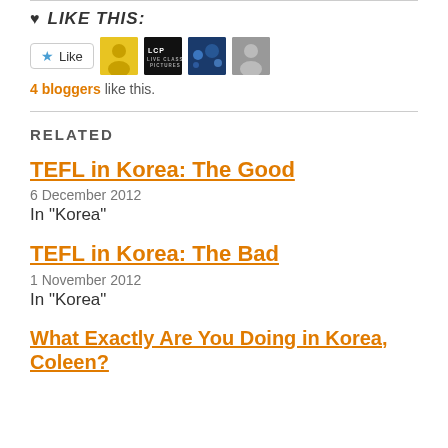LIKE THIS:
4 bloggers like this.
RELATED
TEFL in Korea: The Good
6 December 2012
In "Korea"
TEFL in Korea: The Bad
1 November 2012
In "Korea"
What Exactly Are You Doing in Korea, Coleen?